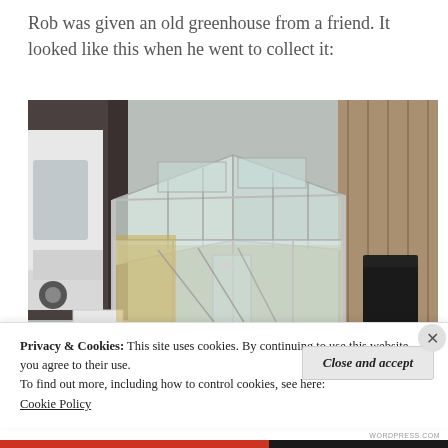Rob was given an old greenhouse from a friend. It looked like this when he went to collect it:
[Figure (photo): Photo of an old greenhouse with aluminum frame and clear panels, sitting in a backyard with a white van on the left, a brown/black fence behind it, and a black compost bin on the right. The greenhouse is dirty and has debris around its base.]
Privacy & Cookies: This site uses cookies. By continuing to use this website, you agree to their use.
To find out more, including how to control cookies, see here:
Cookie Policy